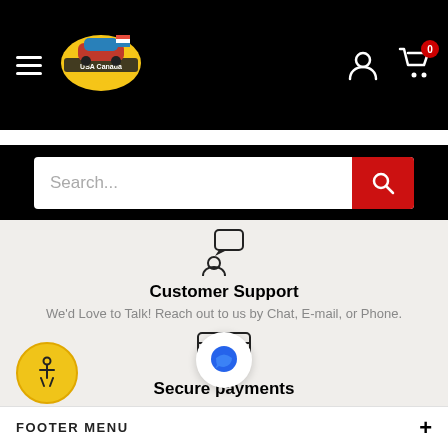[Figure (screenshot): Black navigation bar with hamburger menu icon, store logo, user icon, and cart icon with badge showing 0]
[Figure (screenshot): Search bar with placeholder text 'Search...' and a red search button with magnifying glass icon]
[Figure (illustration): Customer support icon: silhouette of person with speech bubble]
Customer Support
We'd Love to Talk! Reach out to us by Chat, E-mail, or Phone.
[Figure (illustration): Secure payments icon: credit card with padlock]
Secure payments
Your Personal and Financial Information is Guaranteed Secure by our Platform's PCI Level 1 Compliance
FOOTER MENU